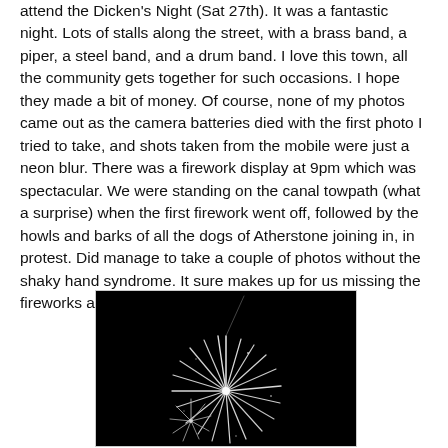attend the Dicken's Night (Sat 27th). It was a fantastic night. Lots of stalls along the street, with a brass band, a piper, a steel band, and a drum band. I love this town, all the community gets together for such occasions. I hope they made a bit of money. Of course, none of my photos came out as the camera batteries died with the first photo I tried to take, and shots taken from the mobile were just a neon blur. There was a firework display at 9pm which was spectacular. We were standing on the canal towpath (what a surprise) when the first firework went off, followed by the howls and barks of all the dogs of Atherstone joining in, in protest. Did manage to take a couple of photos without the shaky hand syndrome. It sure makes up for us missing the fireworks at Shugborough this year.
[Figure (photo): Black and white photograph of fireworks bursting in a dark night sky, showing bright white sparks radiating outward from a central explosion point.]